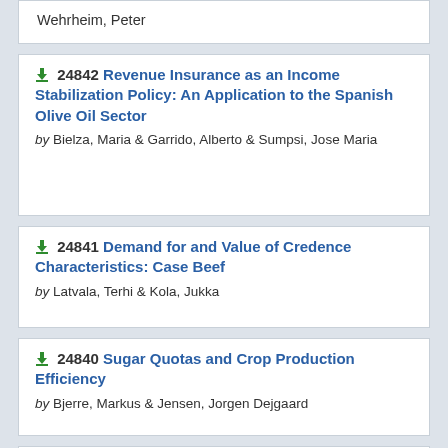Wehrheim, Peter
24842 Revenue Insurance as an Income Stabilization Policy: An Application to the Spanish Olive Oil Sector by Bielza, Maria & Garrido, Alberto & Sumpsi, Jose Maria
24841 Demand for and Value of Credence Characteristics: Case Beef by Latvala, Terhi & Kola, Jukka
24840 Sugar Quotas and Crop Production Efficiency by Bjerre, Markus & Jensen, Jorgen Dejgaard
24839 The Effects of China's Tariff Reductions on EU Agricultural Exports by Niemi, Jyrki S. & Huan-Niemi, Ellen